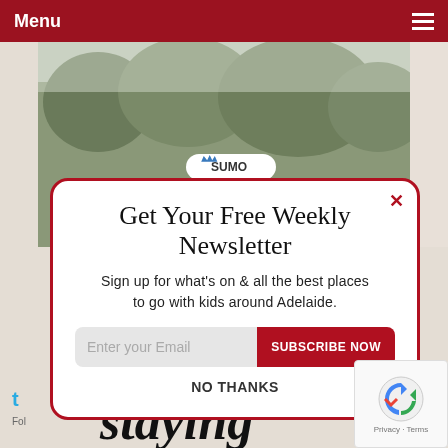Menu
[Figure (photo): Outdoor nature/forest photo with trees, partially visible. SUMO badge overlay in center.]
Get Your Free Weekly Newsletter
Sign up for what's on & all the best places to go with kids around Adelaide.
Enter your Email  SUBSCRIBE NOW
NO THANKS
staying